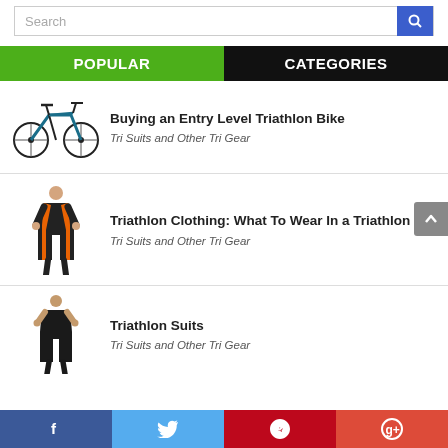Search
POPULAR | CATEGORIES
Buying an Entry Level Triathlon Bike — Tri Suits and Other Tri Gear
Triathlon Clothing: What To Wear In a Triathlon — Tri Suits and Other Tri Gear
Triathlon Suits — Tri Suits and Other Tri Gear
Facebook | Twitter | Pinterest | Google+